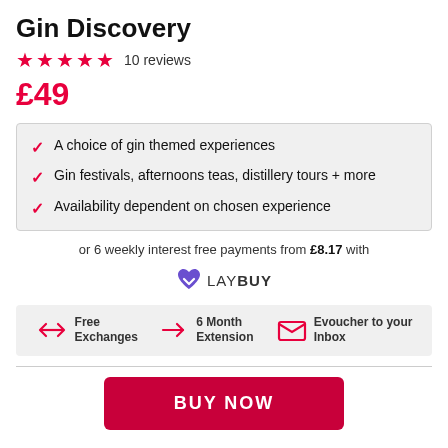Gin Discovery
★★★★★ 10 reviews
£49
A choice of gin themed experiences
Gin festivals, afternoons teas, distillery tours + more
Availability dependent on chosen experience
or 6 weekly interest free payments from £8.17 with LAYBUY
Free Exchanges | 6 Month Extension | Evoucher to your Inbox
BUY NOW